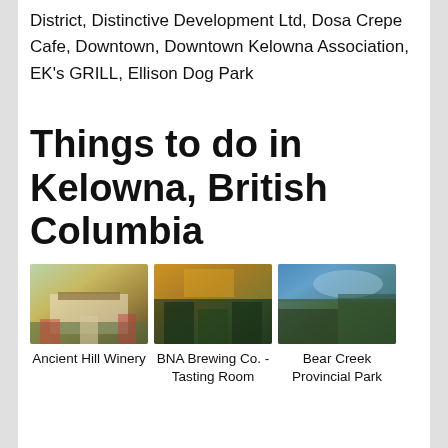District, Distinctive Development Ltd, Dosa Crepe Cafe, Downtown, Downtown Kelowna Association, EK's GRILL, Ellison Dog Park
Things to do in Kelowna, British Columbia
[Figure (photo): Three photos side by side: Ancient Hill Winery, BNA Brewing Co. - Tasting Room, Bear Creek Provincial Park]
Ancient Hill Winery
BNA Brewing Co. - Tasting Room
Bear Creek Provincial Park